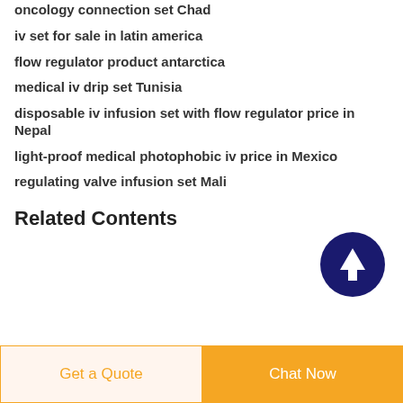oncology connection set Chad
iv set for sale in latin america
flow regulator product antarctica
medical iv drip set Tunisia
disposable iv infusion set with flow regulator price in Nepal
light-proof medical photophobic iv price in Mexico
regulating valve infusion set Mali
Related Contents
[Figure (other): Scroll-to-top button: dark navy blue circle with white upward arrow]
Get a Quote
Chat Now